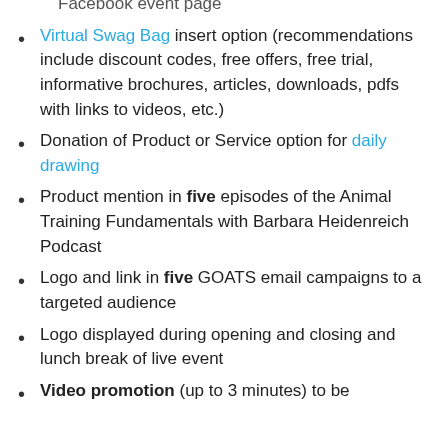Facebook event page
Virtual Swag Bag insert option (recommendations include discount codes, free offers, free trial, informative brochures, articles, downloads, pdfs with links to videos, etc.)
Donation of Product or Service option for daily drawing
Product mention in five episodes of the Animal Training Fundamentals with Barbara Heidenreich Podcast
Logo and link in five GOATS email campaigns to a targeted audience
Logo displayed during opening and closing and lunch break of live event
Video promotion (up to 3 minutes) to be